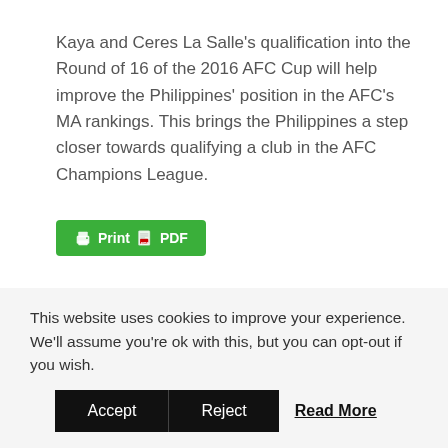Kaya and Ceres La Salle's qualification into the Round of 16 of the 2016 AFC Cup will help improve the Philippines' position in the AFC's MA rankings. This brings the Philippines a step closer towards qualifying a club in the AFC Champions League.
[Figure (other): Green Print PDF button with printer icon and PDF icon]
< Previous article
4th FIFA Grassroots Development Officer Course in the Philippines
Next article >
PFF officials commend Kaya FC and Ceres La Salle FC
This website uses cookies to improve your experience. We'll assume you're ok with this, but you can opt-out if you wish.
Accept   Reject   Read More